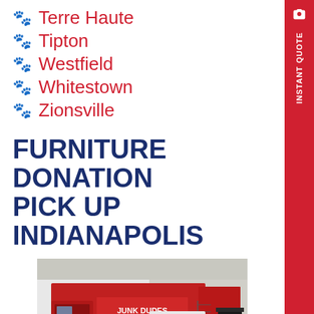🐾 Terre Haute
🐾 Tipton
🐾 Westfield
🐾 Whitestown
🐾 Zionsville
FURNITURE DONATION PICK UP INDIANAPOLIS
[Figure (photo): A red moving truck parked in a lot, with chairs stacked to the right and other vehicles/building in the background.]
INSTANT QUOTE